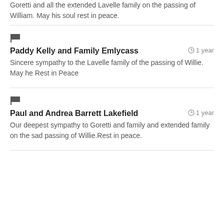Goretti and all the extended Lavelle family on the passing of William. May his soul rest in peace.
Paddy Kelly and Family Emlycass · 1 year
Sincere sympathy to the Lavelle family of the passing of Willie. May he Rest in Peace
Paul and Andrea Barrett Lakefield · 1 year
Our deepest sympathy to Goretti and family and extended family on the sad passing of Willie.Rest in peace.